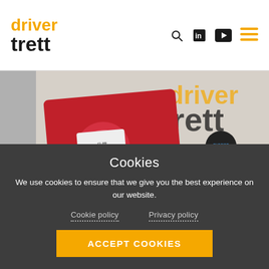driver trett
[Figure (photo): Office scene showing a person holding a red decorative Chinese gift box with floral design and Chinese characters, with a small black product box visible on a white cabinet in the background. The driver trett logo is visible on the wall.]
Cookies
We use cookies to ensure that we give you the best experience on our website.
Cookie policy   Privacy policy
ACCEPT COOKIES